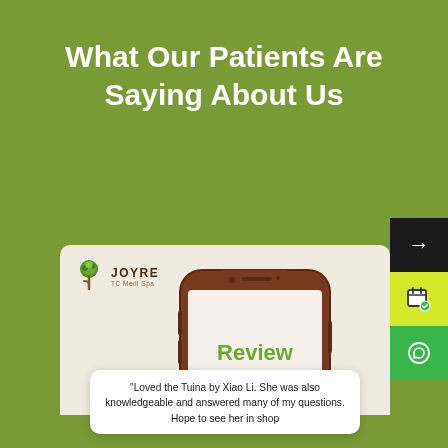What Our Patients Are Saying About Us
[Figure (screenshot): A promotional website section showing a Joyre TC Medi Spa review card with a phone mockup displaying the word 'Review' and a heart/like icon, alongside a patient testimonial quote about Tuina massage by Xiao Li.]
"Loved the Tuina by Xiao Li. She was also knowledgeable and answered many of my questions. Hope to see her in shop